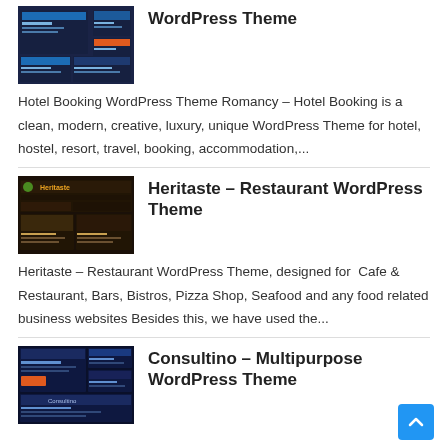[Figure (screenshot): Thumbnail for a hotel booking WordPress theme — dark blue background with website mockup screenshots]
WordPress Theme
Hotel Booking WordPress Theme Romancy – Hotel Booking is a clean, modern, creative, luxury, unique WordPress Theme for hotel, hostel, resort, travel, booking, accommodation,...
[Figure (screenshot): Thumbnail for Heritaste Restaurant WordPress Theme — dark background with food imagery and theme screenshots]
Heritaste – Restaurant WordPress Theme
Heritaste – Restaurant WordPress Theme, designed for  Cafe & Restaurant, Bars, Bistros, Pizza Shop, Seafood and any food related business websites Besides this, we have used the...
[Figure (screenshot): Thumbnail for Consultino Multipurpose WordPress Theme — dark background with business theme screenshots]
Consultino – Multipurpose WordPress Theme